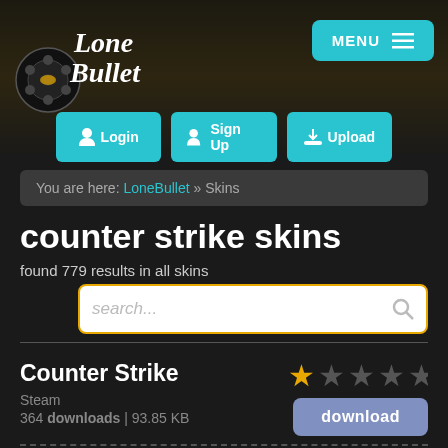[Figure (logo): Lone Bullet logo with film reel icon and gothic blackletter text]
MENU ≡
Login
Sign Up
Upload
You are here: LoneBullet » Skins
counter strike skins
found 779 results in all skins
search...
Counter Strike
Steam
364 downloads | 93.85 KB
[Figure (illustration): 5-star rating showing 1 filled gold star and 4 empty stars]
download